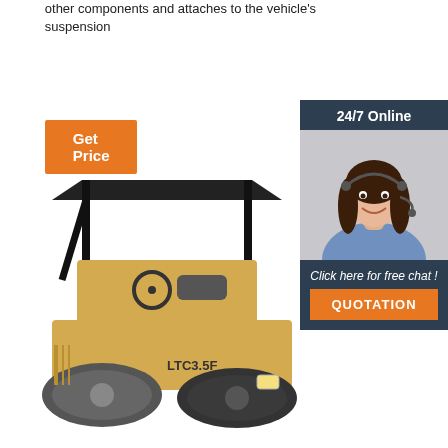other components and attaches to the vehicle's suspension
[Figure (other): Orange 'Get Price' button]
[Figure (infographic): Sidebar with '24/7 Online' header, photo of a woman with headset, 'Click here for free chat!' text, and orange QUOTATION button]
[Figure (photo): Yellow road roller / compactor machine labeled LTC3.5F with canopy roof, photographed on white background]